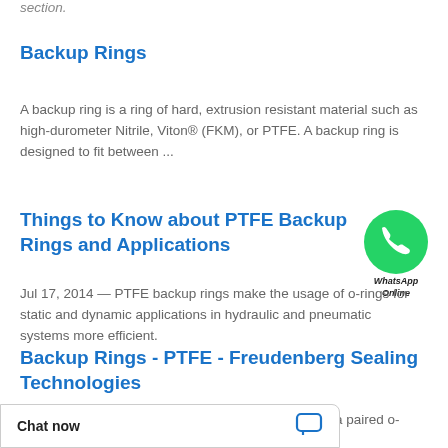section.
Backup Rings
A backup ring is a ring of hard, extrusion resistant material such as high-durometer Nitrile, Viton® (FKM), or PTFE. A backup ring is designed to fit between ...
Things to Know about PTFE Backup Rings and Applications
[Figure (logo): WhatsApp Online badge with green phone icon circle and italic text 'WhatsApp Online']
Jul 17, 2014 — PTFE backup rings make the usage of o-rings for static and dynamic applications in hydraulic and pneumatic systems more efficient.
Backup Rings - PTFE - Freudenberg Sealing Technologies
The PTFE backup rings offer extrusion resistance to a paired o-ring to increase ... Find out more
Chat now